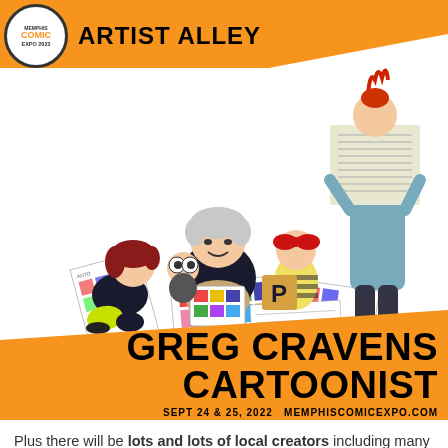ARTIST ALLEY
[Figure (illustration): Cartoon illustration of a group of comic artists/cartoonists sitting on the floor surrounded by comic pages and artwork. Characters include a large man with white hair, a boy with big eyes, a girl with red hair, a girl in a yellow striped outfit, and a tall man in blue shirt reading a newspaper. Various comic pages scattered around them.]
GREG CRAVENS CARTOONIST
SEPT 24 & 25, 2022   MEMPHISCOMICEXPO.COM
Plus there will be lots and lots of local creators including many of our own MSCA members. I'll post a blog here